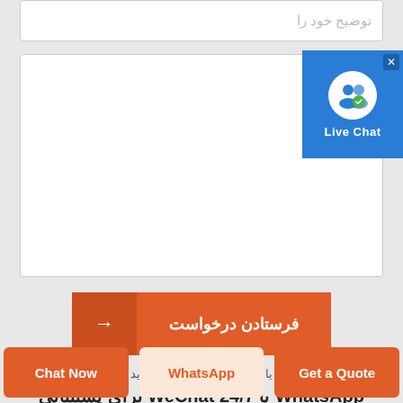توضیح خود را
پیغام تو
[Figure (infographic): Live Chat badge widget with user icon and blue background, showing 'Live Chat' label and X close button]
فرستادن درخواست →
یا اگر به کمک سریع نیاز دارید
برای پشتیبانی 24/7 WeChat یا WhatsApp
Get a Quote
WhatsApp
Chat Now